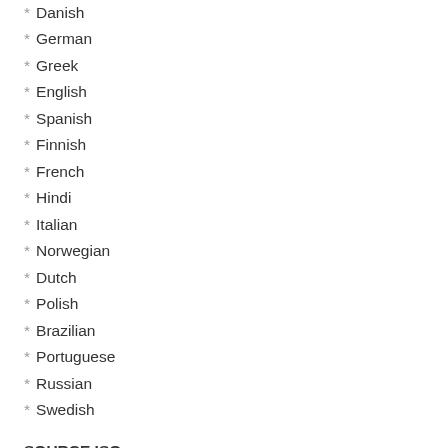* Danish
* German
* Greek
* English
* Spanish
* Finnish
* French
* Hindi
* Italian
* Norwegian
* Dutch
* Polish
* Brazilian
* Portuguese
* Russian
* Swedish
SOURCE ISO:
* Office16 X86 en US